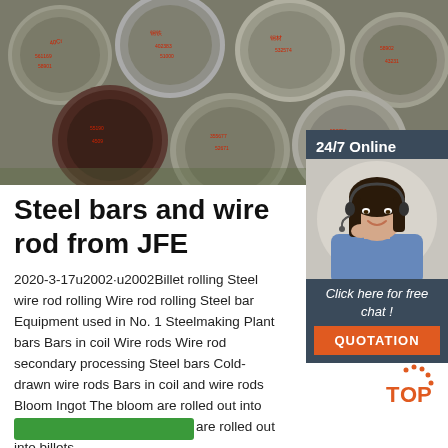[Figure (photo): Photo of steel round bars/rods with red Chinese markings on their ends, stacked together]
[Figure (photo): Sidebar with 24/7 Online label and photo of a woman wearing a headset smiling, with 'Click here for free chat!' text and an orange QUOTATION button]
Steel bars and wire rod from JFE
2020-3-17u2002·u2002Billet rolling Steel wire rod rolling Wire rod rolling Steel bar Equipment used in No. 1 Steelmaking Plant bars Bars in coil Wire rods Wire rod secondary processing Steel bars Cold-drawn wire rods Bars in coil and wire rods Bloom Ingot The bloom are rolled out into billets. Billet rolling The bloom are rolled out into billets.